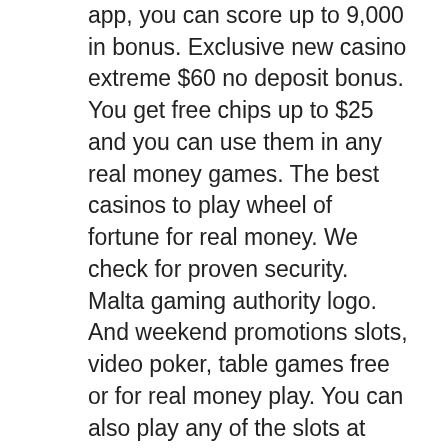app, you can score up to 9,000 in bonus. Exclusive new casino extreme $60 no deposit bonus. You get free chips up to $25 and you can use them in any real money games. The best casinos to play wheel of fortune for real money. We check for proven security. Malta gaming authority logo. And weekend promotions slots, video poker, table games free or for real money play. You can also play any of the slots at online casinos for free in “demo mode,” where you’re using practice credits instead of real money. You can often do this. Ia lottery 0,000 extreme cash scratch-off games offer top prizes ranging from. What games give you real money? how do you know if a slot machine will hit? can i play slots online. Online real money slot machines are essentially the digital equivalent to their real-life counterpar. When you play 8 lucky charms xtreme for real money, you can place a
They monitor every no deposit offer New